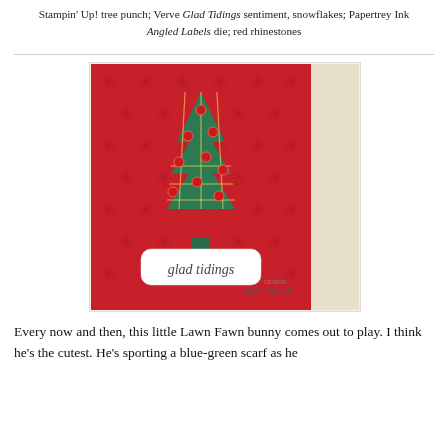Stampin' Up! tree punch; Verve Glad Tidings sentiment, snowflakes; Papertrey Ink Angled Labels die; red rhinestones
[Figure (photo): A handmade Christmas card with a red background covered in snowflake pattern. A plaid green Christmas tree decorated with red rhinestone ornaments is in the center. A white label at the bottom reads 'glad tidings' in script. Design credit to Colleen Dietrich.]
Every now and then, this little Lawn Fawn bunny comes out to play.  I think he's the cutest.  He's sporting a blue-green scarf as he